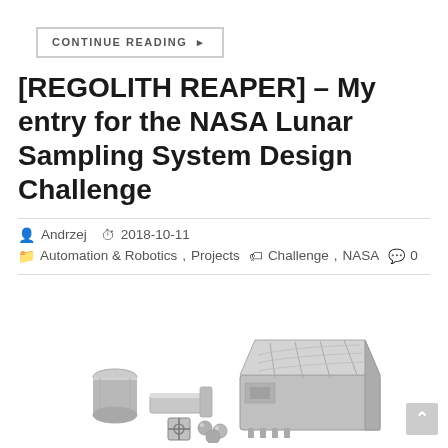CONTINUE READING ▶
[REGOLITH REAPER] – My entry for the NASA Lunar Sampling System Design Challenge
👤 Andrzej  🕐 2018-10-11
📁 Automation & Robotics, Projects  🏷 Challenge, NASA  💬 0
[Figure (photo): 3D render of the REGOLITH REAPER NASA Lunar Sampling System components including a cylindrical container, a scoop/shovel attachment, a large main body unit with metallic paneling, a small crosshair target piece, spherical samples, and a chip/microcontroller icon in the upper right corner.]